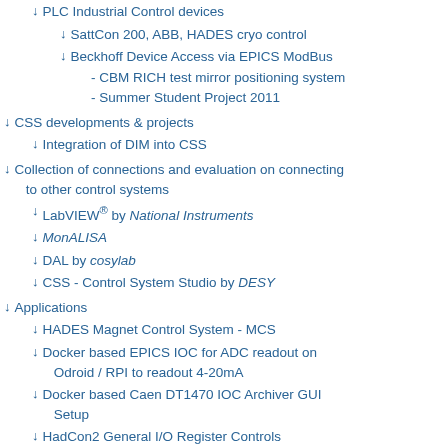PLC Industrial Control devices
SattCon 200, ABB, HADES cryo control
Beckhoff Device Access via EPICS ModBus
- CBM RICH test mirror positioning system
- Summer Student Project 2011
CSS developments & projects
Integration of DIM into CSS
Collection of connections and evaluation on connecting to other control systems
LabVIEW® by National Instruments
MonALISA
DAL by cosylab
CSS - Control System Studio by DESY
Applications
HADES Magnet Control System - MCS
Docker based EPICS IOC for ADC readout on Odroid / RPI to readout 4-20mA
Docker based Caen DT1470 IOC Archiver GUI Setup
HadCon2 General I/O Register Controls